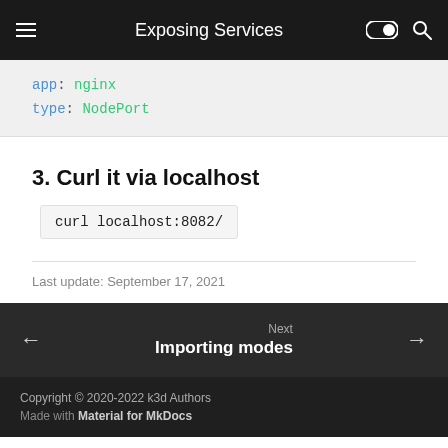Exposing Services
app: nginx
  type: NodePort
3. Curl it via localhost
curl localhost:8082/
Last update: September 17, 2021
Next
Importing modes
Copyright © 2020-2022 k3d Authors
Made with Material for MkDocs